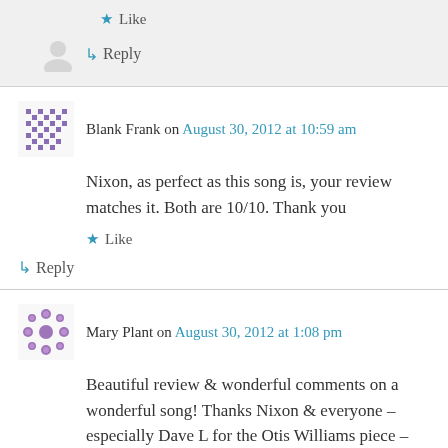Like
Reply
Blank Frank on August 30, 2012 at 10:59 am
Nixon, as perfect as this song is, your review matches it. Both are 10/10. Thank you
Like
Reply
Mary Plant on August 30, 2012 at 1:08 pm
Beautiful review & wonderful comments on a wonderful song! Thanks Nixon & everyone – especially Dave L for the Otis Williams piece –